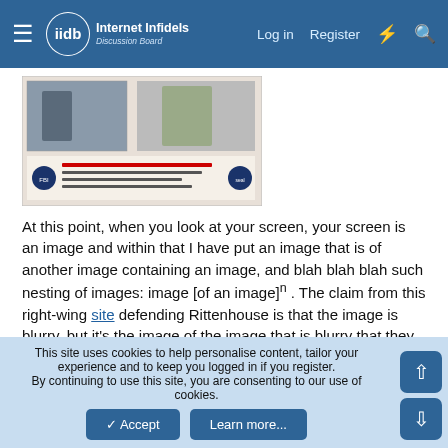Internet Infidels Discussion Board — Log in  Register
[Figure (screenshot): Embedded screenshot showing an image with photos and text, partially visible, cropped]
At this point, when you look at your screen, your screen is an image and within that I have put an image that is of another image containing an image, and blah blah blah such nesting of images: image [of an image]ⁿ . The claim from this right-wing site defending Rittenhouse is that the image is blurry, but it's the image of the image that is blurry that they have put on display. You can tell because of the words that are blurry but that wouldn't be blurry to an observer of the actual evidence.
I am not claiming that all their arguments are invalid, but it's difficult to trust the rest of their arguments if…
This site uses cookies to help personalise content, tailor your experience and to keep you logged in if you register.
By continuing to use this site, you are consenting to our use of cookies.